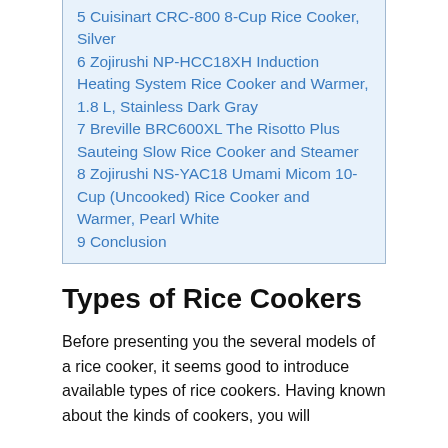5 Cuisinart CRC-800 8-Cup Rice Cooker, Silver
6 Zojirushi NP-HCC18XH Induction Heating System Rice Cooker and Warmer, 1.8 L, Stainless Dark Gray
7 Breville BRC600XL The Risotto Plus Sauteing Slow Rice Cooker and Steamer
8 Zojirushi NS-YAC18 Umami Micom 10-Cup (Uncooked) Rice Cooker and Warmer, Pearl White
9 Conclusion
Types of Rice Cookers
Before presenting you the several models of a rice cooker, it seems good to introduce available types of rice cookers. Having known about the kinds of cookers, you will